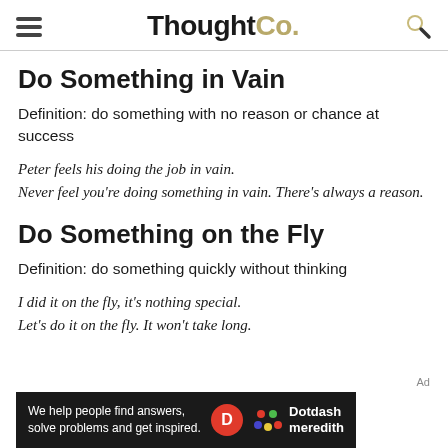ThoughtCo.
Do Something in Vain
Definition: do something with no reason or chance at success
Peter feels his doing the job in vain.
Never feel you're doing something in vain. There's always a reason.
Do Something on the Fly
Definition: do something quickly without thinking
I did it on the fly, it's nothing special.
Let's do it on the fly. It won't take long.
Ad
We help people find answers, solve problems and get inspired. Dotdash meredith